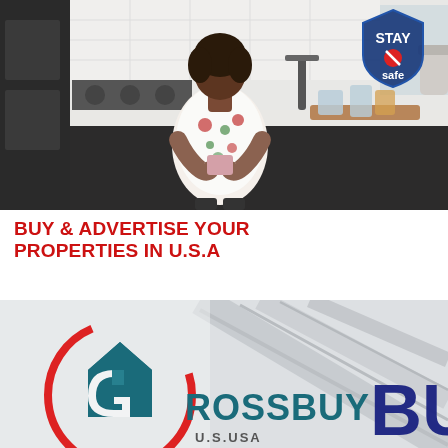[Figure (photo): Woman in floral blouse sitting at kitchen counter holding smartphone, with glasses of water on wooden tray. Stay Safe shield logo visible in upper right corner.]
BUY & ADVERTISE YOUR PROPERTIES IN U.S.A
[Figure (logo): Grossbuy U.S.USA logo with red circle arc, teal house/letter G icon, and ROSSBUY text in teal, with BU partially visible on the right over a staircase background photo.]